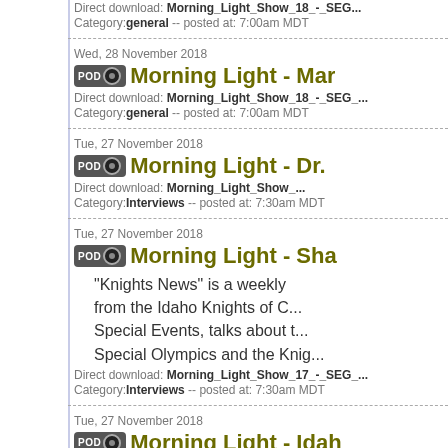Direct download: Morning_Light_Show_18_-_SEG... Category:general -- posted at: 7:00am MDT
Wed, 28 November 2018
Morning Light - Mar...
Direct download: Morning_Light_Show_18_-_SEG_... Category:general -- posted at: 7:00am MDT
Tue, 27 November 2018
Morning Light - Dr....
Direct download: Morning_Light_Show_... Category:Interviews -- posted at: 7:30am MDT
Tue, 27 November 2018
Morning Light - Sha...
"Knights News" is a weekly from the Idaho Knights of C... Special Events, talks about t... Special Olympics and the Knig...
Direct download: Morning_Light_Show_17_-_SEG_... Category:Interviews -- posted at: 7:30am MDT
Tue, 27 November 2018
Morning Light - Idah...
Direct download: Morning_Light_Show...